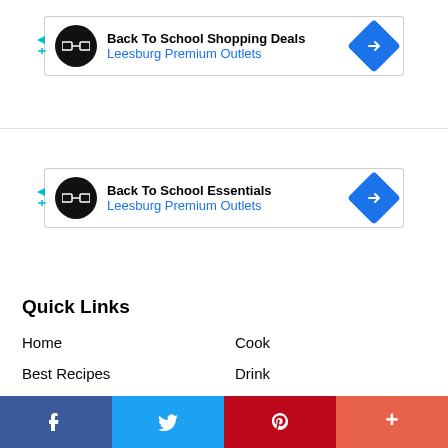[Figure (other): Ad banner 1: Back To School Shopping Deals - Leesburg Premium Outlets with logo and arrow icon]
[Figure (other): Ad banner 2: Back To School Essentials - Leesburg Premium Outlets with logo and arrow icon]
Quick Links
Home
Best Recipes
Eat/Dine
Entertain
Travel
Video
Cook
Drink
Healthy Eating
Holidays
Community
Paid Partner Content